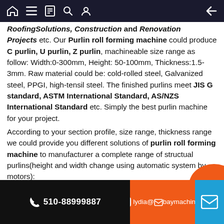Navigation bar with home, menu, bookmarks, search, user icons and back arrow
RoofingSolutions, Construction and Renovation Projects etc. Our Purlin roll forming machine could produce C purlin, U purlin, Z purlin, machineable size range as follow: Width:0-300mm, Height: 50-100mm, Thickness:1.5-3mm. Raw material could be: cold-rolled steel, Galvanized steel, PPGI, high-tensil steel. The finished purlins meet JIS G standard, ASTM International Standard, AS/NZS International Standard etc. Simply the best purlin machine for your project.
According to your section profile, size range, thickness range we could provide you different solutions of purlin roll forming machine to manufacturer a complete range of structual purlins(height and width change using automatic system by motors):
Only to produce C/U section, change time: few seconds
C/U/Z section-manual change whole line from C to Z, change time: 10 minutes
C/U/Z/M section-manual change 4 stations from C to Z, change
510-88999887   lydia@ baymachinery